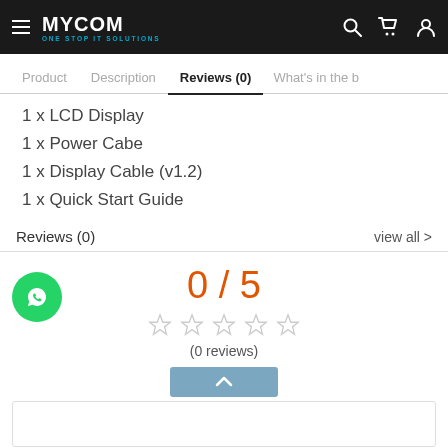MYCOM ONE STOP IT SOLUTIONS
Product  Description  Reviews (0)  What's in the b
1 x LCD Display
1 x Power Cabe
1 x Display Cable (v1.2)
1 x Quick Start Guide
Reviews (0)
view all >
0 / 5
(0 reviews)